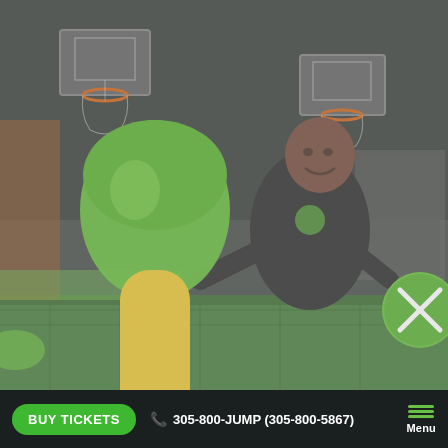[Figure (photo): Indoor trampoline park scene. A smiling man in a black t-shirt holds a green and yellow inflatable jousting pole/bat in one hand and a green ball with a white X logo in the other. Basketball hoops are visible in the background. The environment is dark with green trampoline surfaces visible.]
BUY TICKETS   305-800-JUMP (305-800-5867)   Menu